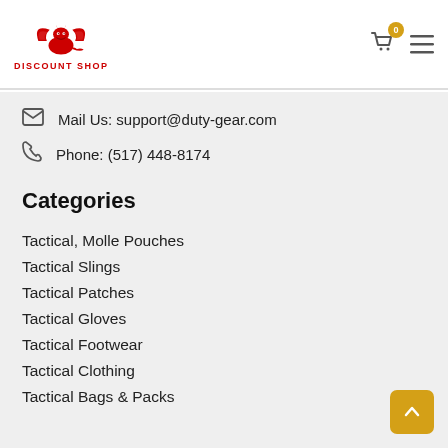[Figure (logo): Discount Shop logo with red dragon and text DISCOUNT SHOP]
Mail Us: support@duty-gear.com
Phone: (517) 448-8174
Categories
Tactical, Molle Pouches
Tactical Slings
Tactical Patches
Tactical Gloves
Tactical Footwear
Tactical Clothing
Tactical Bags & Packs